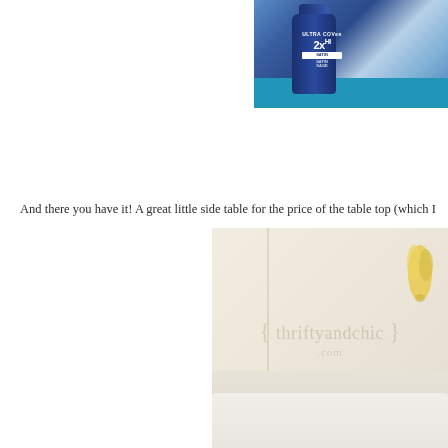[Figure (photo): Photo of a Rust-Oleum Ultra Cover 2X spray paint can (dark blue) sitting on a bright blue painted surface, with blue tones in the background.]
And there you have it! A great little side table for the price of the table top (which I
[Figure (photo): Photo of a bedroom corner with cream/beige walls, a white pillow visible at the bottom, and a yellow decorative item on the right. The thriftyandchic.com watermark is overlaid on the image.]